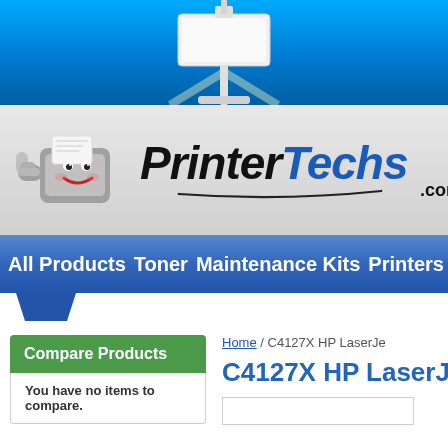[Figure (screenshot): PrinterTechs.com website screenshot showing blue top banner with projector/sign graphic, company logo with mascot printer character giving thumbs up, navigation bar with All Products, Toner, Maintenance Kits, Printers links, a Compare Products sidebar box, and C4127X HP LaserJet product page beginning]
PrinterTechs.com
All Products   Toner   Maintenance Kits   Printers
Compare Products
You have no items to compare.
Home / C4127X HP LaserJe
C4127X HP LaserJe